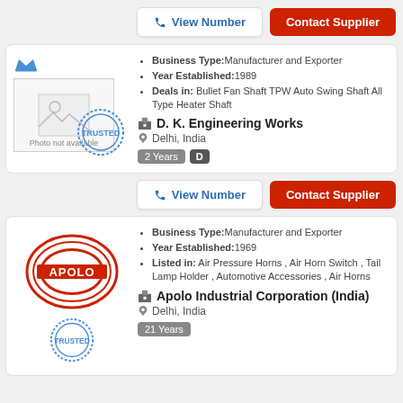View Number
Contact Supplier
[Figure (logo): Photo not available placeholder with crown icon and trusted stamp]
Business Type:Manufacturer and Exporter
Year Established:1989
Deals in: Bullet Fan Shaft TPW Auto Swing Shaft All Type Heater Shaft
D. K. Engineering Works
Delhi, India
2 Years   D
View Number
Contact Supplier
[Figure (logo): Apolo logo - red oval stamp with APOLO text and trusted stamp]
Business Type:Manufacturer and Exporter
Year Established:1969
Listed in: Air Pressure Horns , Air Horn Switch , Tail Lamp Holder , Automotive Accessories , Air Horns
Apolo Industrial Corporation (India)
Delhi, India
21 Years